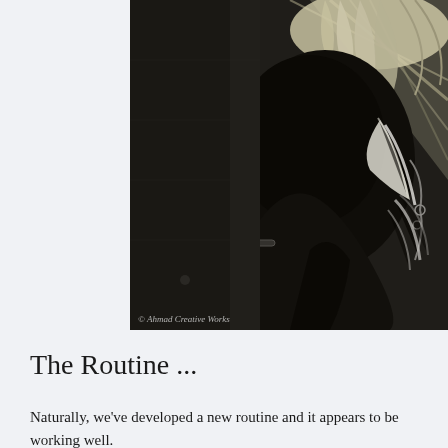[Figure (photo): Black and white photograph of a person wearing a feathered headdress, bowing their head downward. The image is dramatic with high contrast lighting. A copyright watermark reads '© Ahmad Creative Works' at the bottom left.]
The Routine ...
Naturally, we've developed a new routine and it appears to be working well.